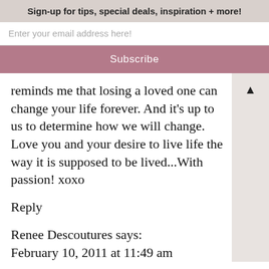Sign-up for tips, special deals, inspiration + more!
Enter your email address here!
Subscribe
reminds me that losing a loved one can change your life forever. And it's up to us to determine how we will change. Love you and your desire to live life the way it is supposed to be lived...With passion! xoxo
Reply
Renee Descoutures says:
February 10, 2011 at 11:49 am